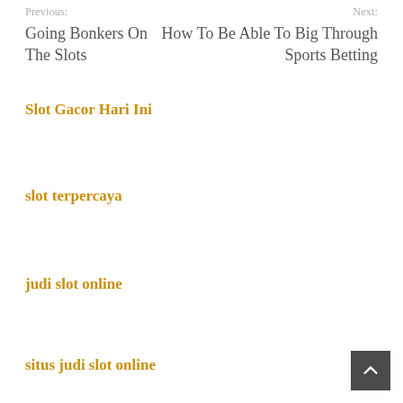Previous: Going Bonkers On The Slots | Next: How To Be Able To Big Through Sports Betting
Slot Gacor Hari Ini
slot terpercaya
judi slot online
situs judi slot online